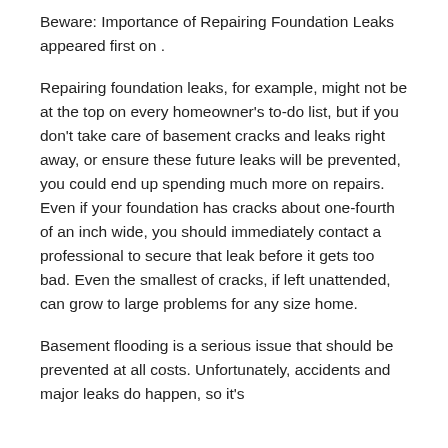Beware: Importance of Repairing Foundation Leaks appeared first on .
Repairing foundation leaks, for example, might not be at the top on every homeowner's to-do list, but if you don't take care of basement cracks and leaks right away, or ensure these future leaks will be prevented, you could end up spending much more on repairs. Even if your foundation has cracks about one-fourth of an inch wide, you should immediately contact a professional to secure that leak before it gets too bad. Even the smallest of cracks, if left unattended, can grow to large problems for any size home.
Basement flooding is a serious issue that should be prevented at all costs. Unfortunately, accidents and major leaks do happen, so it's